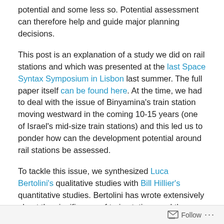potential and some less so. Potential assessment can therefore help and guide major planning decisions.
This post is an explanation of a study we did on rail stations and which was presented at the last Space Syntax Symposium in Lisbon last summer. The full paper itself can be found here. At the time, we had to deal with the issue of Binyamina's train station moving westward in the coming 10-15 years (one of Israel's mid-size train stations) and this led us to ponder how can the development potential around rail stations be assessed.
To tackle this issue, we synthesized Luca Bertolini's qualitative studies with Bill Hillier's quantitative studies. Bertolini has wrote extensively about the significance of train stations and the ways they should be planned to
Follow ...